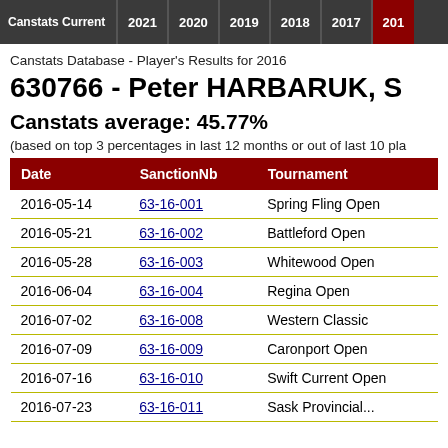Canstats Current | 2021 | 2020 | 2019 | 2018 | 2017 | 201
Canstats Database - Player's Results for 2016
630766 - Peter HARBARUK, S
Canstats average: 45.77%
(based on top 3 percentages in last 12 months or out of last 10 pla
| Date | SanctionNb | Tournament |
| --- | --- | --- |
| 2016-05-14 | 63-16-001 | Spring Fling Open |
| 2016-05-21 | 63-16-002 | Battleford Open |
| 2016-05-28 | 63-16-003 | Whitewood Open |
| 2016-06-04 | 63-16-004 | Regina Open |
| 2016-07-02 | 63-16-008 | Western Classic |
| 2016-07-09 | 63-16-009 | Caronport Open |
| 2016-07-16 | 63-16-010 | Swift Current Open |
| 2016-07-23 | 63-16-011 | Sask Provincial... |